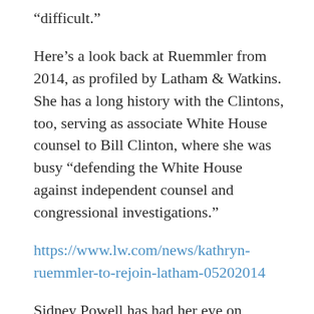“difficult.”
Here’s a look back at Ruemmler from 2014, as profiled by Latham & Watkins. She has a long history with the Clintons, too, serving as associate White House counsel to Bill Clinton, where she was busy “defending the White House against independent counsel and congressional investigations.”
https://www.lw.com/news/kathryn-ruemmler-to-rejoin-latham-05202014
Sidney Powell has had her eye on Ruemmler for a long time. This piece from 2018 places Obama’s “fixer” among